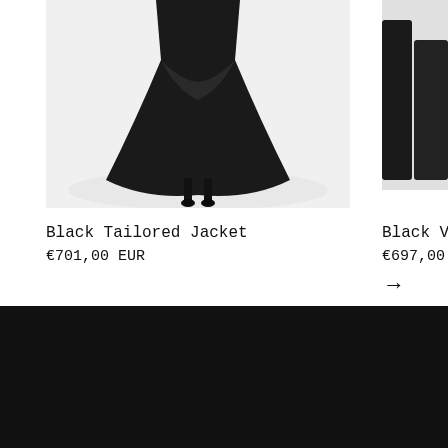[Figure (photo): Black flowing skirt/dress on a model, cropped at waist, photographed against white background]
[Figure (photo): Partially visible fashion item in black, cropped by right edge of viewport]
Black Tailored Jacket
€701,00 EUR
Black V-bac
€697,00 EUR
→
LUDUS (logo with Facebook, Twitter, Instagram icons)